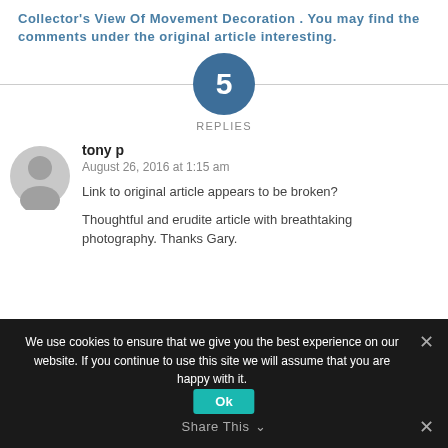Collector's View Of Movement Decoration . You may find the comments under the original article interesting.
[Figure (infographic): Circle with number 5 and label REPLIES below, with horizontal divider line]
tony p
August 26, 2016 at 1:15 am
Link to original article appears to be broken?
Thoughtful and erudite article with breathtaking photography. Thanks Gary.
We use cookies to ensure that we give you the best experience on our website. If you continue to use this site we will assume that you are happy with it.
Share This